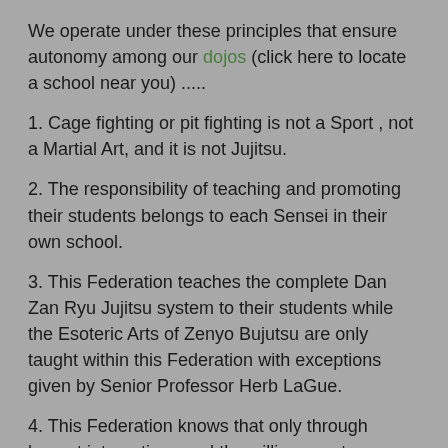We operate under these principles that ensure autonomy among our dojos (click here to locate a school near you) .....
1. Cage fighting or pit fighting is not a Sport , not a Martial Art, and it is not Jujitsu.
2. The responsibility of teaching and promoting their students belongs to each Sensei in their own school.
3. This Federation teaches the complete Dan Zan Ryu Jujitsu system to their students while the Esoteric Arts of Zenyo Bujutsu are only taught within this Federation with exceptions given by Senior Professor Herb LaGue.
4. This Federation knows that only through honest interactions and the willingness to appreciate the differences among each of us can the heart of martial